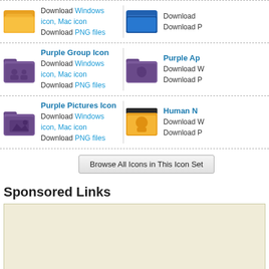Download Windows icon, Mac icon
Download PNG files
Purple Group Icon
Download Windows icon, Mac icon
Download PNG files
Purple Pictures Icon
Download Windows icon, Mac icon
Download PNG files
Purple Ap...
Download W...
Download P...
Human N...
Download W...
Download P...
Browse All Icons in This Icon Set
Sponsored Links
[Figure (other): Advertisement placeholder box with beige/cream background]